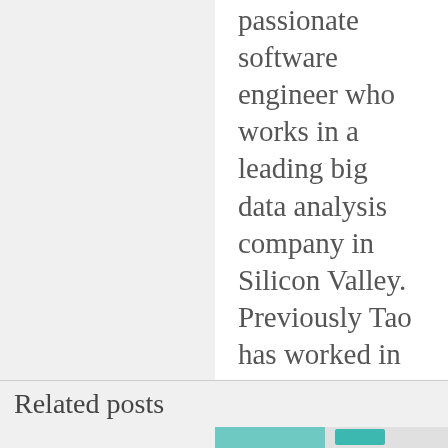[Figure (photo): Partial view of a circular avatar/profile photo showing teal/cyan colors at the top of the profile card]
passionate software engineer who works in a leading big data analysis company in Silicon Valley. Previously Tao has worked in big IT companies such as IBM and Cisco. Tao has a MS degree in Computer Science from University of McGill and many years of experience as a teaching assistant for various computer science classes.
Related posts
[Figure (photo): Partial bottom image strip showing teal/green colored images at the bottom of the page]